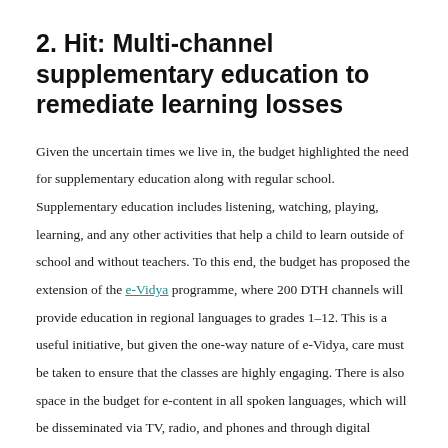2. Hit: Multi-channel supplementary education to remediate learning losses
Given the uncertain times we live in, the budget highlighted the need for supplementary education along with regular school. Supplementary education includes listening, watching, playing, learning, and any other activities that help a child to learn outside of school and without teachers. To this end, the budget has proposed the extension of the e-Vidya programme, where 200 DTH channels will provide education in regional languages to grades 1–12. This is a useful initiative, but given the one-way nature of e-Vidya, care must be taken to ensure that the classes are highly engaging. There is also space in the budget for e-content in all spoken languages, which will be disseminated via TV, radio, and phones and through digital teachers, that is,